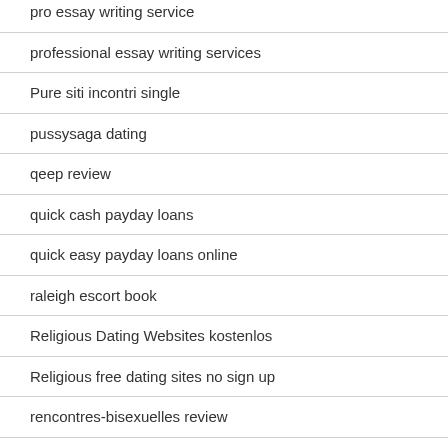pro essay writing service
professional essay writing services
Pure siti incontri single
pussysaga dating
qeep review
quick cash payday loans
quick easy payday loans online
raleigh escort book
Religious Dating Websites kostenlos
Religious free dating sites no sign up
rencontres-bisexuelles review
rencontres-sikh review